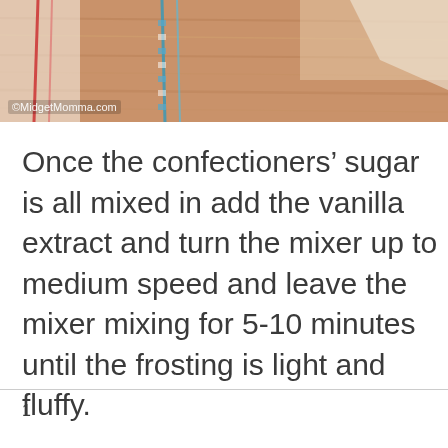[Figure (photo): A photo showing baking tools and ingredients on a wooden surface, with colorful ribbon/string decorations. Watermark reads ©MidgetMomma.com]
Once the confectioners' sugar is all mixed in add the vanilla extract and turn the mixer up to medium speed and leave the mixer mixing for 5-10 minutes until the frosting is light and fluffy.
1